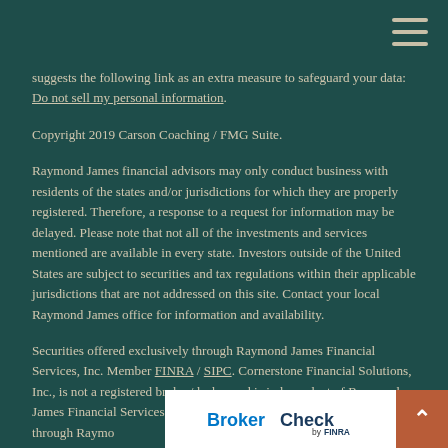[Figure (other): Hamburger menu icon (three horizontal lines) in top right corner]
suggests the following link as an extra measure to safeguard your data: Do not sell my personal information.
Copyright 2019 Carson Coaching / FMG Suite.
Raymond James financial advisors may only conduct business with residents of the states and/or jurisdictions for which they are properly registered. Therefore, a response to a request for information may be delayed. Please note that not all of the investments and services mentioned are available in every state. Investors outside of the United States are subject to securities and tax regulations within their applicable jurisdictions that are not addressed on this site. Contact your local Raymond James office for information and availability.
Securities offered exclusively through Raymond James Financial Services, Inc. Member FINRA / SIPC. Cornerstone Financial Solutions, Inc., is not a registered broker/dealer, and is independent of Raymond James Financial Services. Investment Advisory Services are offered through Raymond James Financial Services Advisors, Inc.
[Figure (logo): BrokerCheck by FINRA logo — white bar at bottom of page with BrokerCheck by FINRA logo and orange back-to-top arrow button]